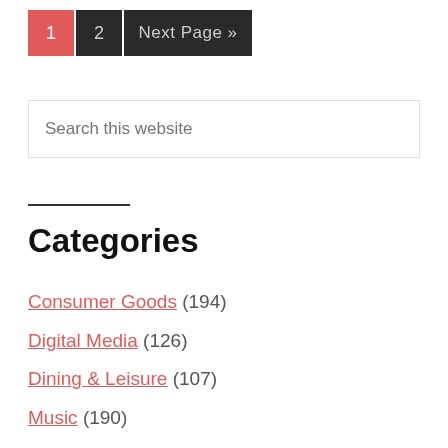1  2  Next Page »
Search this website
Categories
Consumer Goods (194)
Digital Media (126)
Dining & Leisure (107)
Music (190)
Odds & Ends (91)
Performing Arts (361)